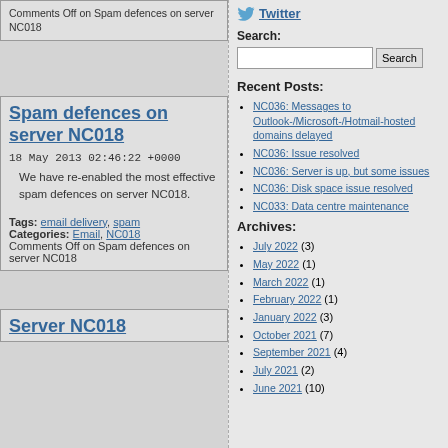Comments Off on Spam defences on server NC018
Spam defences on server NC018
18 May 2013 02:46:22 +0000
We have re-enabled the most effective spam defences on server NC018.
Tags: email delivery, spam
Categories: Email, NC018
Comments Off on Spam defences on server NC018
[Figure (logo): Twitter bird icon]
Twitter
Search:
Recent Posts:
NC036: Messages to Outlook-/Microsoft-/Hotmail-hosted domains delayed
NC036: Issue resolved
NC036: Server is up, but some issues
NC036: Disk space issue resolved
NC033: Data centre maintenance
Archives:
July 2022 (3)
May 2022 (1)
March 2022 (1)
February 2022 (1)
January 2022 (3)
October 2021 (7)
September 2021 (4)
July 2021 (2)
June 2021 (10)
Server NC018